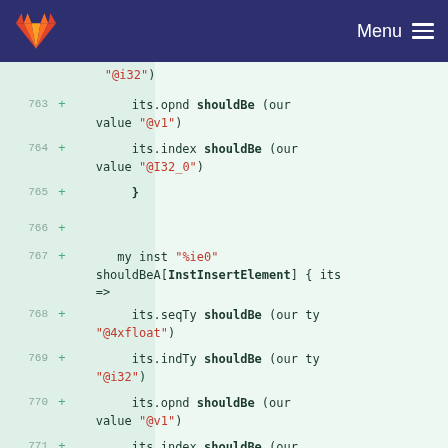Menu
"@i32")
763 + its.opnd shouldBe (our value "@v1")
764 + its.index shouldBe (our value "@I32_0")
765 + }
766 +
767 + my inst "%ie0" shouldBeA[InstInsertElement] { its =>
768 + its.seqTy shouldBe (our ty "@4xfloat")
769 + its.indTy shouldBe (our ty "@i32")
770 + its.opnd shouldBe (our value "@v1")
771 + its.index shouldBe (our value "@I32_1")
772 + its.newVal shouldBe (our value "@F_1")